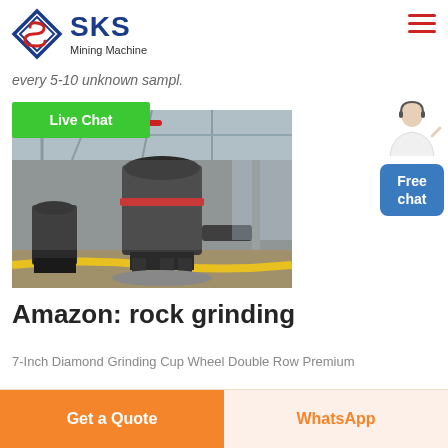SKS Mining Machine
every 5-10 unknown sampl.
[Figure (screenshot): Live Chat green button overlay on industrial grinding machine photo in factory setting]
Amazon: rock grinding
7-Inch Diamond Grinding Cup Wheel Double Row Premium
Get a Quote | WhatsApp